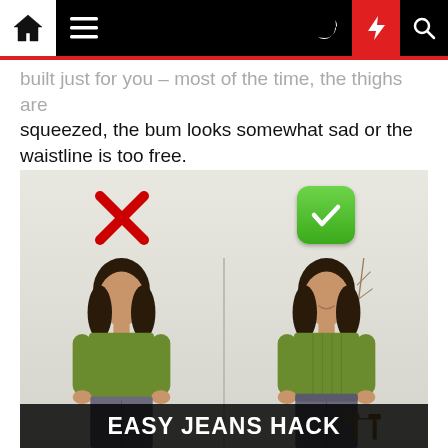Navigation bar with home, menu, moon, bolt, and search icons
built just for you – most of the time, the thighs are squeezed, the bum looks somewhat sad or the waistline is too free.
[Figure (photo): Side-by-side comparison photo showing a woman in a green ribbed top and grey jeans. Left side shows wrong way (red X) and right side shows correct way (green checkmark). Bottom text reads EASY JEANS HACK.]